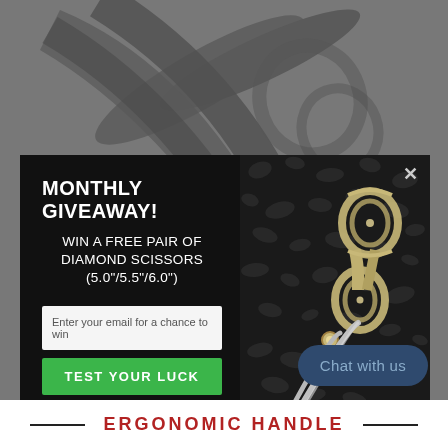[Figure (illustration): Dark gray background with stylized large scissor blades/shapes visible as decorative background elements, partially obscured by a modal popup]
MONTHLY GIVEAWAY!
WIN A FREE PAIR OF DIAMOND SCISSORS (5.0"/5.5"/6.0")
Enter your email for a chance to win
TEST YOUR LUCK
[Figure (photo): Professional ornate silver/gold hair scissors lying on dark black gravel stones background, right side of the modal popup]
Chat with us
ERGONOMIC HANDLE